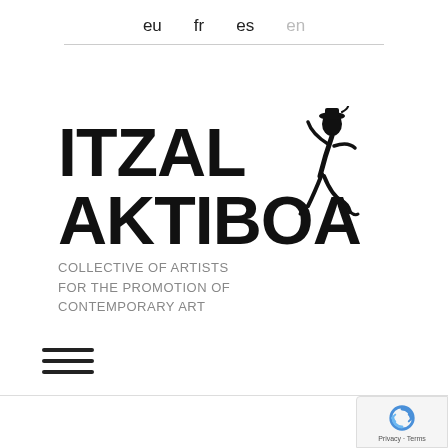eu  fr  es  en
[Figure (logo): Itzal Aktiboa logo with stylized dancing figure illustration. Large bold black text reads ITZAL AKTIBOA with subtitle COLLECTIVE OF ARTISTS FOR THE PROMOTION OF CONTEMPORARY ART in grey.]
[Figure (other): Hamburger menu icon with three horizontal lines]
[Figure (other): Google reCAPTCHA badge in bottom right corner showing shield logo and Privacy - Terms text]